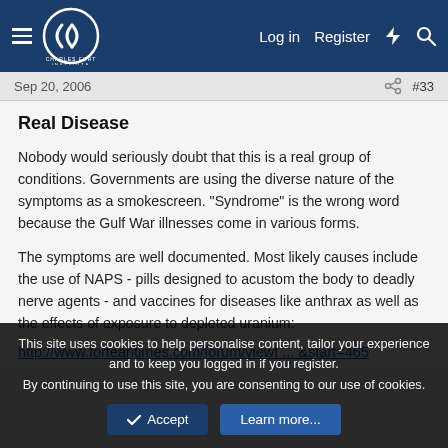Charles Fort Institute — Log in | Register
Sep 20, 2006  #33
Real Disease
Nobody would seriously doubt that this is a real group of conditions. Governments are using the diverse nature of the symptoms as a smokescreen. "Syndrome" is the wrong word because the Gulf War illnesses come in various forms.
The symptoms are well documented. Most likely causes include the use of NAPS - pills designed to acustom the body to deadly nerve agents - and vaccines for diseases like anthrax as well as the effects of exposure to depleted uranium:
http://www.forteantimes.com/forum/viewt ... &start=465
This site uses cookies to help personalise content, tailor your experience and to keep you logged in if you register.
By continuing to use this site, you are consenting to our use of cookies.